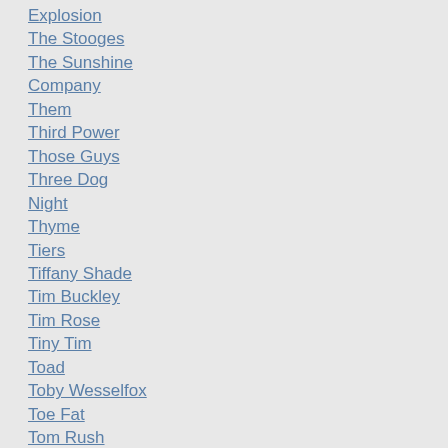Explosion
The Stooges
The Sunshine Company
Them
Third Power
Those Guys
Three Dog Night
Thyme
Tiers
Tiffany Shade
Tim Buckley
Tim Rose
Tiny Tim
Toad
Toby Wesselfox
Toe Fat
Tom Rush
Tony Joe White
Tony Sonoda
Tower of Power
Traffic
Traffic with Stevie